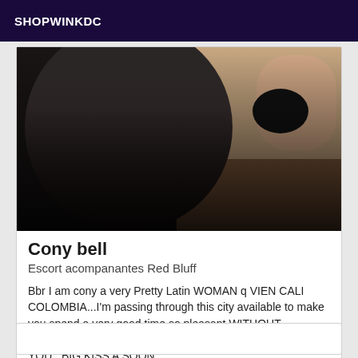SHOPWINKDC
[Figure (photo): Partial photo of a person wearing black lingerie/stockings against a light background, with a dark gradient at the bottom]
Cony bell
Escort acompanantes Red Bluff
Bbr I am cony a very Pretty Latin WOMAN q VIEN CALI COLOMBIA...I'm passing through this city available to make you spend a very good time so pleasant WITHOUT TABOO...*LI TO HAVE MORE REINSEMBLY...I WAIT FOR YOU...BIG KISS A SOON